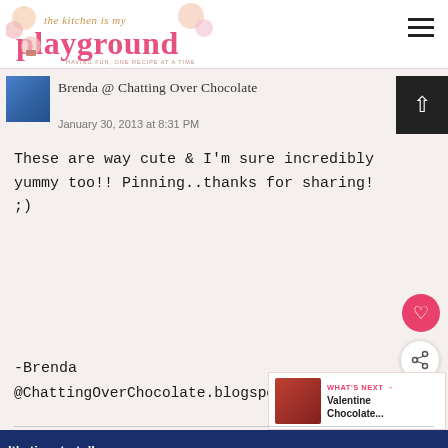the kitchen is my playground — Brenda @ Chatting Over Chocolate
[Figure (logo): The Kitchen Is My Playground blog logo with pink text and cupcake decorations]
Brenda @ Chatting Over Chocolate
January 30, 2013 at 8:31 PM
These are way cute & I'm sure incredibly yummy too!! Pinning..thanks for sharing! ;)
-Brenda
@ChattingOverChocolate.blogspot.com
WHAT'S NEXT → Valentine Chocolate...
It's time to talk about Alzheimer's.